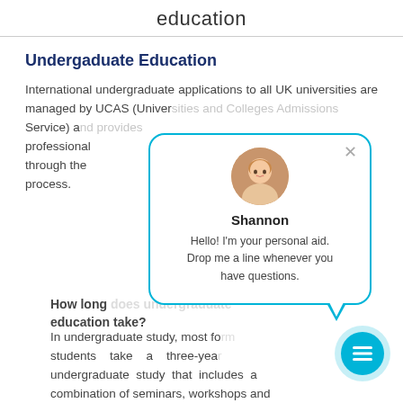education
Undergaduate Education
International undergraduate applications to all UK universities are managed by UCAS (Univer... Service) a... professional through the process.
[Figure (other): Chat popup with avatar photo of Shannon, a blonde woman smiling. Contains name 'Shannon' and message 'Hello! I'm your personal aid. Drop me a line whenever you have questions.' with a close (X) button and a speech bubble tail pointing down-right.]
How long does undergraduate education take?
In undergraduate study, most fo... students take a three-year undergraduate study that includes a combination of seminars, workshops and